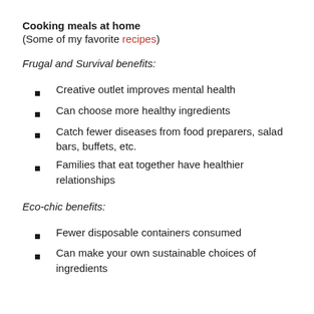Cooking meals at home
(Some of my favorite recipes)
Frugal and Survival benefits:
Creative outlet improves mental health
Can choose more healthy ingredients
Catch fewer diseases from food preparers, salad bars, buffets, etc.
Families that eat together have healthier relationships
Eco-chic benefits:
Fewer disposable containers consumed
Can make your own sustainable choices of ingredients